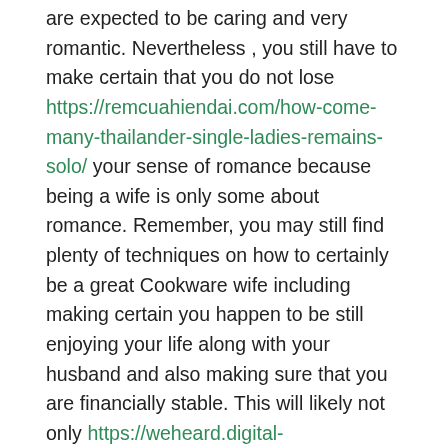are expected to be caring and very romantic. Nevertheless , you still have to make certain that you do not lose https://remcuahiendai.com/how-come-many-thailander-single-ladies-remains-solo/ your sense of romance because being a wife is only some about romance. Remember, you may still find plenty of techniques on how to certainly be a great Cookware wife including making certain you happen to be still enjoying your life along with your husband and also making sure that you are financially stable. This will likely not only https://weheard.digital-ppa.fr/author/weheard/page/95/ make your man happy but will also make sure that he includes someone to rely on when intervals get tough.